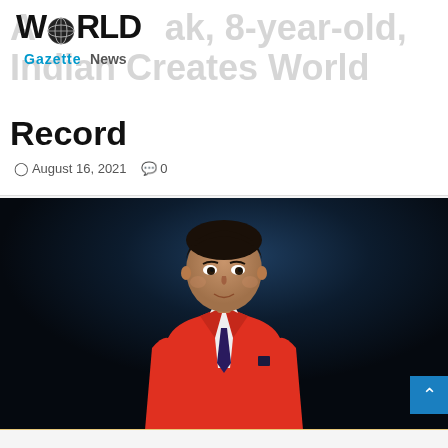[Figure (logo): World Gazette News logo with globe icon replacing the O in WORLD]
A Kolak, 8-year-old, Indian Creates World Record
August 16, 2021  0
[Figure (photo): Young Indian boy approximately 8 years old wearing a bright red blazer/suit with a white shirt and dark purple tie, with a dark blue background, smiling slightly at the camera, styled professional portrait photo]